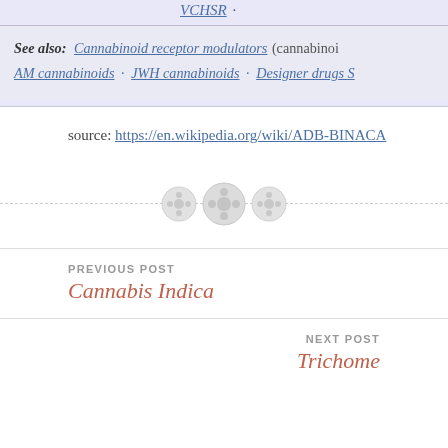VCHSR · See also: Cannabinoid receptor modulators (cannabinoids · AM cannabinoids · JWH cannabinoids · Designer drugs S
source: https://en.wikipedia.org/wiki/ADB-BINACA
[Figure (illustration): Decorative divider with three circular button-like icons centered on a dashed horizontal line]
PREVIOUS POST
Cannabis Indica
NEXT POST
Trichome